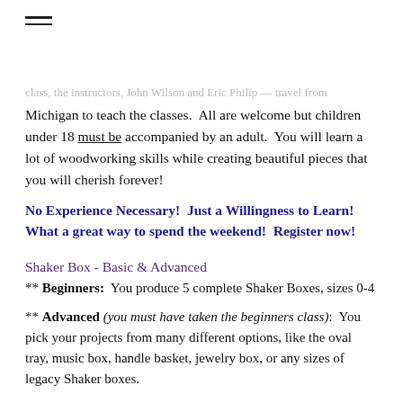Michigan to teach the classes.  All are welcome but children under 18 must be accompanied by an adult.  You will learn a lot of woodworking skills while creating beautiful pieces that you will cherish forever!
No Experience Necessary!  Just a Willingness to Learn!  What a great way to spend the weekend!  Register now!
Shaker Box - Basic & Advanced
** Beginners:  You produce 5 complete Shaker Boxes, sizes 0-4
** Advanced (you must have taken the beginners class):  You pick your projects from many different options, like the oval tray, music box, handle basket, jewelry box, or any sizes of legacy Shaker boxes.
Again in 2022!  The Basic & Advanced Classes are Split!
The Basic Class will be on Friday night, March 4th from 6pm